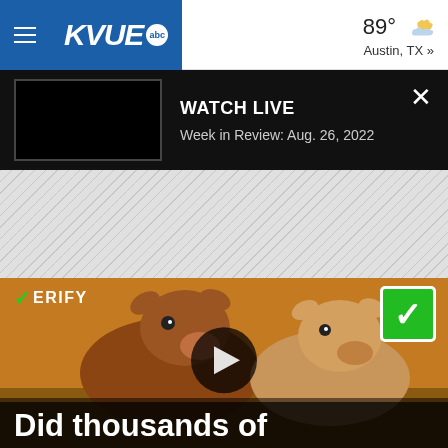KVUE abc | 89° Austin, TX »
WATCH LIVE
Week in Review: Aug. 26, 2022
[Figure (other): Gray hatched advertisement/placeholder stripe area]
[Figure (photo): Two brown/tan cattle (cows) standing in a field with golden light. VERIFY logo top-left with green checkmark. Green square checkbox with white checkmark top-right. Play button in center. Headline text at bottom: 'Did thousands of']
Did thousands of